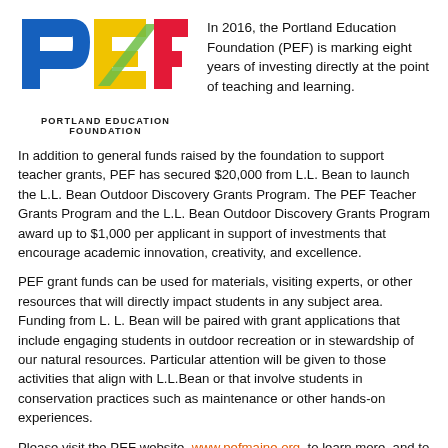[Figure (logo): Portland Education Foundation (PEF) logo with colorful letter shapes P, E, F in blue, yellow/green, and red.]
In 2016, the Portland Education Foundation (PEF) is marking eight years of investing directly at the point of teaching and learning.
In addition to general funds raised by the foundation to support teacher grants, PEF has secured $20,000 from L.L. Bean to launch the L.L. Bean Outdoor Discovery Grants Program. The PEF Teacher Grants Program and the L.L. Bean Outdoor Discovery Grants Program award up to $1,000 per applicant in support of investments that encourage academic innovation, creativity, and excellence.
PEF grant funds can be used for materials, visiting experts, or other resources that will directly impact students in any subject area. Funding from L. L. Bean will be paired with grant applications that include engaging students in outdoor recreation or in stewardship of our natural resources. Particular attention will be given to those activities that align with L.L.Bean or that involve students in conservation practices such as maintenance or other hands-on experiences.
Please visit the PEF website, www.pefmaine.org, to learn more, and to fill out an application. Grant applications this year are accepted Aug. 1 through Oct.3, 2016. Decisions about grant proposals will be communicated just before the Thanksgiving holiday.